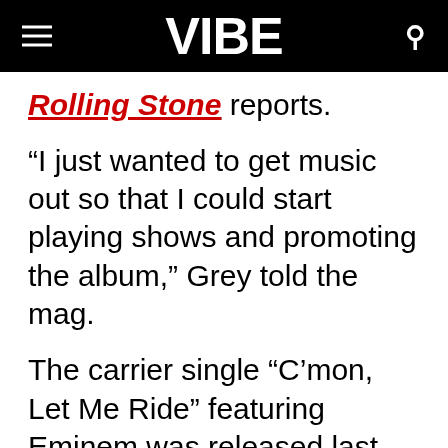VIBE
Rolling Stone reports.
“I just wanted to get music out so that I could start playing shows and promoting the album,” Grey told the mag.
The carrier single “C’mon, Let Me Ride” featuring Eminem was released last year but the Grammy award-winning songstress promises new music ahead of the project’s release. “I believe in hearing more than one song, because there are so many different sides to the album,” she says. “So we came up with a plan, which is putting the album out July 9th, but before that putting out four singles